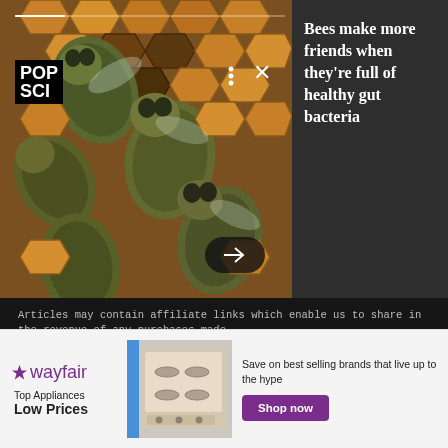[Figure (photo): Close-up photo of bees in honeycomb cells on the left, with POP SCI logo, navigation dots and X button overlaid. Dark panel on right with article title.]
Bees make more friends when they’re full of healthy gut bacteria
Articles may contain affiliate links which enable us to share in the revenue of any purchases made.
Registration on or use of this site constitutes acceptance of our Terms of Service.
© 2022 Recurrent. All rights reserved.
[Figure (infographic): Wayfair advertisement banner showing wayfair logo, Top Appliances Low Prices tagline, appliance photo, and Shop now button with text Save on best selling brands that live up to the hype.]